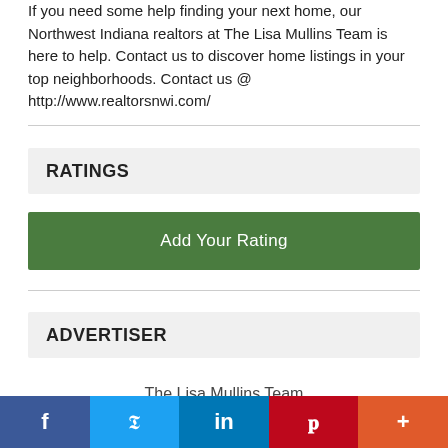If you need some help finding your next home, our Northwest Indiana realtors at The Lisa Mullins Team is here to help. Contact us to discover home listings in your top neighborhoods. Contact us @ http://www.realtorsnwi.com/
RATINGS
Add Your Rating
ADVERTISER
The Lisa Mullins Team